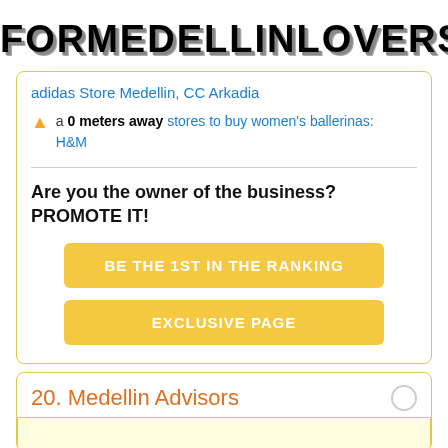FORMEDELLINLOVERS
adidas Store Medellin, CC Arkadia
a 0 meters away stores to buy women's ballerinas: H&M
Are you the owner of the business? PROMOTE IT!
BE THE 1ST IN THE RANKING
EXCLUSIVE PAGE
20. Medellin Advisors